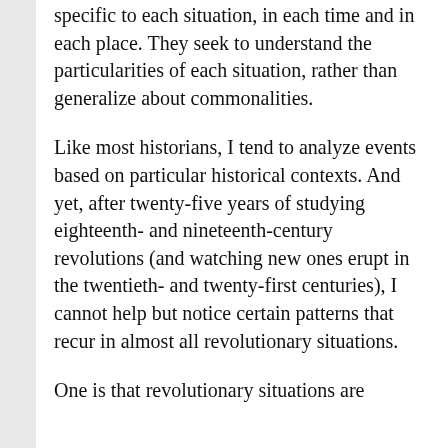specific to each situation, in each time and in each place. They seek to understand the particularities of each situation, rather than generalize about commonalities.
Like most historians, I tend to analyze events based on particular historical contexts. And yet, after twenty-five years of studying eighteenth- and nineteenth-century revolutions (and watching new ones erupt in the twentieth- and twenty-first centuries), I cannot help but notice certain patterns that recur in almost all revolutionary situations.
One is that revolutionary situations are